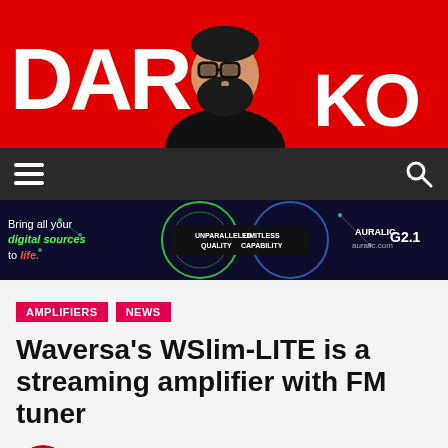[Figure (logo): DAR KO website logo on red background with illustrated avatar of bearded man with glasses]
[Figure (screenshot): Dark navigation bar with hamburger menu on left and dark mode toggle and search icon on right]
[Figure (infographic): Auralic G2.1 advertisement banner: 'Bring all your digital sources to life. Unparalleled Quality. Limitless Capability. auralic.com']
AMPLIFIERS  NEWS
Waversa's WSlim-LITE is a streaming amplifier with FM tuner
by John Darko
April 1, 2020, 10:32